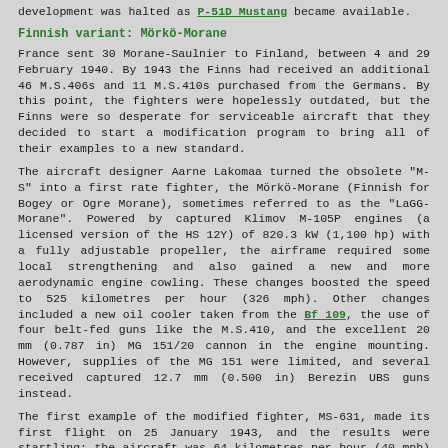development was halted as P-51D Mustang became available.
Finnish variant: Mörkö-Morane
France sent 30 Morane-Saulnier to Finland, between 4 and 29 February 1940. By 1943 the Finns had received an additional 46 M.S.406s and 11 M.S.410s purchased from the Germans. By this point, the fighters were hopelessly outdated, but the Finns were so desperate for serviceable aircraft that they decided to start a modification program to bring all of their examples to a new standard.
The aircraft designer Aarne Lakomaa turned the obsolete "M-S" into a first rate fighter, the Mörkö-Morane (Finnish for Bogey or Ogre Morane), sometimes referred to as the "LaGG-Morane". Powered by captured Klimov M-105P engines (a licensed version of the HS 12Y) of 820.3 kW (1,100 hp) with a fully adjustable propeller, the airframe required some local strengthening and also gained a new and more aerodynamic engine cowling. These changes boosted the speed to 525 kilometres per hour (326 mph). Other changes included a new oil cooler taken from the Bf 109, the use of four belt-fed guns like the M.S.410, and the excellent 20 mm (0.787 in) MG 151/20 cannon in the engine mounting. However, supplies of the MG 151 were limited, and several received captured 12.7 mm (0.500 in) Berezin UBS guns instead.
The first example of the modified fighter, MS-631, made its first flight on 25 January 1943, and the results were startling: the aircraft was 64 kilometres per hour (40 mph) faster than the original French version, and the service ceiling was increased from 10,000-12,000 metres (33,000-39,000 ft).
Originally, it was planned to convert all the 41 remaining M.S.406s and M.S.410s with the Soviet engine, but it took time, and the first front-line aircraft of this type did not reach leLv 28 until July/August 1944. By the